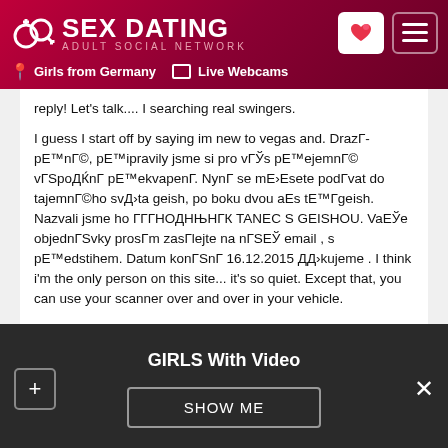[Figure (screenshot): Sex Dating Adult Social Network website header with logo, heart icon button, menu button, Girls from Germany link, and Live Webcams link]
reply! Let's talk.... I searching real swingers.

I guess I start off by saying im new to vegas and. DrazГ­pЕ™nГ©, pЕ™ipravily jsme si pro vГЎs pЕ™ejemnГ© vГЅpoДЌnГ pЕ™ekvapenГ. NynГ se mЕ›Esete podГvat do tajemnГ©ho svД›ta geish, po boku dvou aEs tЕ™Г­geish. Nazvali jsme ho ГГГНОДНЊНГК TANEC S GEISHOU. VaЕЎe objednГЅvky prosГm zasГlejte na nГЅЕЎ email , s pЕ™edstihem. Datum konГЅnГ­ 16.12.2015 ДД›kujeme . I think i'm the only person on this site... it's so quiet. Except that, you can use your scanner over and over in your vehicle.
GIRLS With Video
SHOW ME